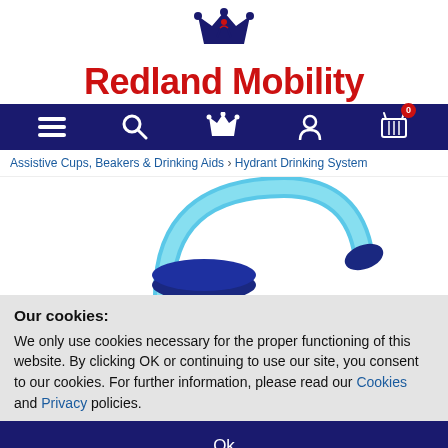[Figure (logo): Redland Mobility logo with dark blue crown icon above the brand name in red bold text]
[Figure (screenshot): Dark blue navigation bar with hamburger menu, search icon, crown icon, user icon, and shopping cart icon with red badge showing 0]
Assistive Cups, Beakers & Drinking Aids › Hydrant Drinking System
[Figure (photo): Partial photo of a Hydrant Drinking System product - dark blue base with a light blue curved drinking tube/straw]
Our cookies:
We only use cookies necessary for the proper functioning of this website. By clicking OK or continuing to use our site, you consent to our cookies. For further information, please read our Cookies and Privacy policies.
Ok